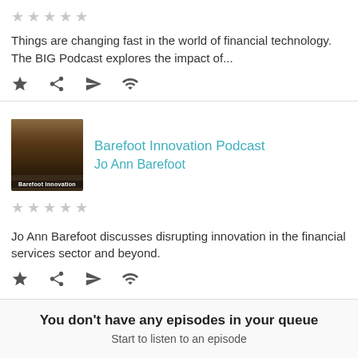Things are changing fast in the world of financial technology. The BIG Podcast explores the impact of...
Barefoot Innovation Podcast
Jo Ann Barefoot
Jo Ann Barefoot discusses disrupting innovation in the financial services sector and beyond.
You don't have any episodes in your queue
Start to listen to an episode